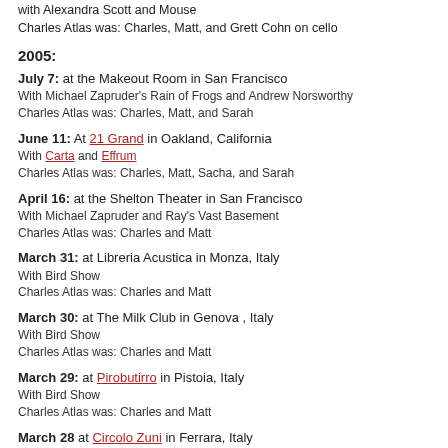with Alexandra Scott and Mouse
Charles Atlas was: Charles, Matt, and Grett Cohn on cello
2005:
July 7: at the Makeout Room in San Francisco
With Michael Zapruder's Rain of Frogs and Andrew Norsworthy
Charles Atlas was: Charles, Matt, and Sarah
June 11: At 21 Grand in Oakland, California
With Carta and Effrum
Charles Atlas was: Charles, Matt, Sacha, and Sarah
April 16: at the Shelton Theater in San Francisco
With Michael Zapruder and Ray's Vast Basement
Charles Atlas was: Charles and Matt
March 31: at Libreria Acustica in Monza, Italy
With Bird Show
Charles Atlas was: Charles and Matt
March 30: at The Milk Club in Genova , Italy
With Bird Show
Charles Atlas was: Charles and Matt
March 29: at Pirobutirro in Pistoia, Italy
With Bird Show
Charles Atlas was: Charles and Matt
March 28 at Circolo Zuni in Ferrara, Italy
With Bird Show
Charles Atlas was: Charles and Matt, with guest Ben Vida
March 27: at Charles Bronson in Ravenna, Italy
With Bird Show